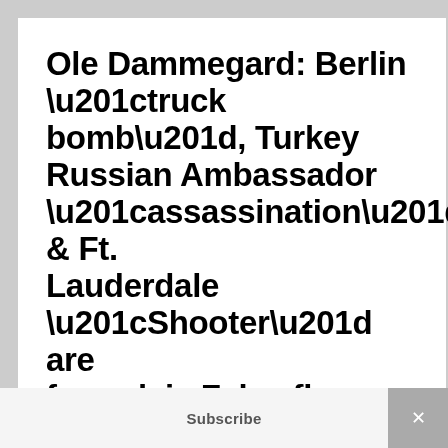Ole Dammegard: Berlin “truck bomb”, Turkey Russian Ambassador “assassination” & Ft. Lauderdale “Shooter” are formulaic False flags for Fake News & Social tension Agenda
JANUARY 14, 2017 BY ALFRED LAMBREMONT WEBRE — 12 COMMENTS
Ole Dammegard: Berlin “truck bomb”, Turkey Russian Ambassador
Subscribe